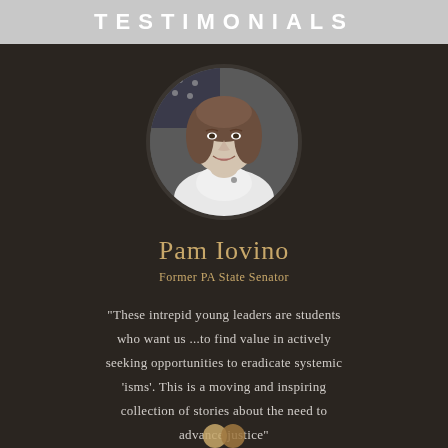TESTIMONIALS
[Figure (photo): Black and white circular portrait photo of Pam Iovino, a woman with short brown hair, smiling, with an American flag visible in the background.]
Pam Iovino
Former PA State Senator
"These intrepid young leaders are students who want us ...to find value in actively seeking opportunities to eradicate systemic 'isms'. This is a moving and inspiring collection of stories about the need to advance justice"